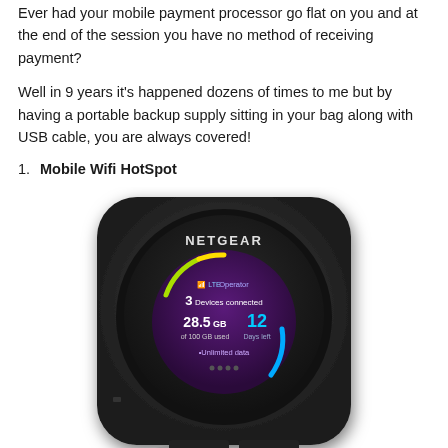Ever had your mobile payment processor go flat on you and at the end of the session you have no method of receiving payment?
Well in 9 years it's happened dozens of times to me but by having a portable backup supply sitting in your bag along with USB cable, you are always covered!
1. Mobile Wifi HotSpot
[Figure (photo): A Netgear mobile WiFi hotspot device (black, square with rounded corners, textured surface) with a circular display showing signal bars, '3 Devices connected', '28.5 GB of 100 GB used', '12 Days left', and colorful arc indicators in green, yellow, and blue.]